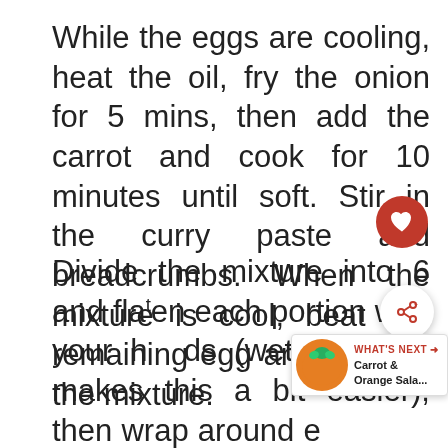While the eggs are cooling, heat the oil, fry the onion for 5 mins, then add the carrot and cook for 10 minutes until soft. Stir in the curry paste and breadcrumbs. When the mixture is cool, beat the remaining egg and stir into the mixture.
Divide the mixture into 6 and flatten each portion with your hands (wetting them makes this a bit easier), then wrap around egg – the mixture will seal well as you press it together. Roll the eggs in